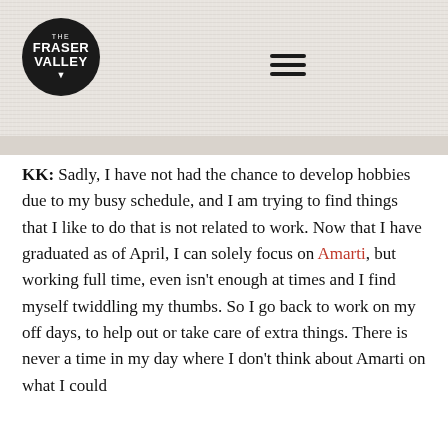[Figure (logo): The Fraser Valley circular logo in black with white text, showing 'THE' at top, 'FRASER' and 'VALLEY' in larger text, and a downward arrow at the bottom]
KK: Sadly, I have not had the chance to develop hobbies due to my busy schedule, and I am trying to find things that I like to do that is not related to work. Now that I have graduated as of April, I can solely focus on Amarti, but working full time, even isn't enough at times and I find myself twiddling my thumbs. So I go back to work on my off days, to help out or take care of extra things. There is never a time in my day where I don't think about Amarti on what I could be improving on, and working on things at Amarti.